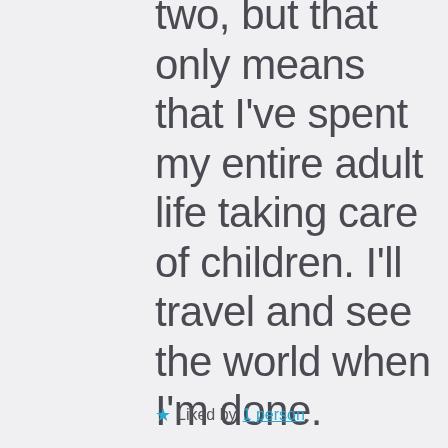than the first two, but that only means that I've spent my entire adult life taking care of children. I'll travel and see the world when I'm done.
★ Liked by 1 person